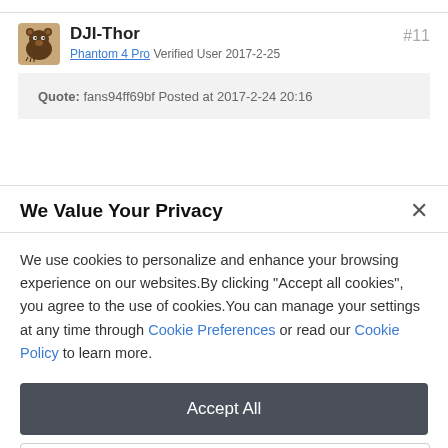DJI-Thor  #11
Phantom 4 Pro  Verified User  2017-2-25
Quote: fans94ff69bf Posted at 2017-2-24 20:16
We Value Your Privacy
We use cookies to personalize and enhance your browsing experience on our websites.By clicking "Accept all cookies", you agree to the use of cookies.You can manage your settings at any time through Cookie Preferences or read our Cookie Policy to learn more.
Accept All
Cookie Preferences